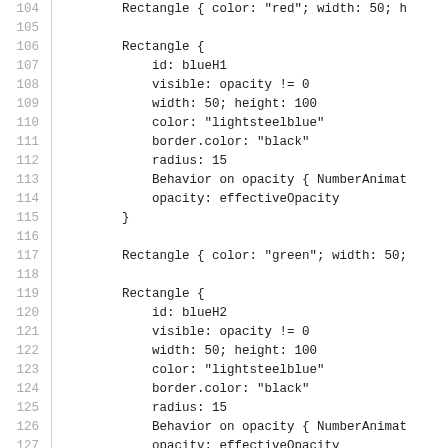Code listing lines 104-134, showing Rectangle definitions with id, visible, width, height, color, border.color, radius, and Behavior on opacity properties.